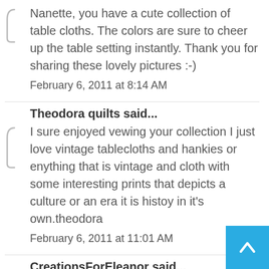Nanette, you have a cute collection of table cloths. The colors are sure to cheer up the table setting instantly. Thank you for sharing these lovely pictures :-)
February 6, 2011 at 8:14 AM
Theodora quilts said...
I sure enjoyed vewing your collection I just love vintage tablecloths and hankies or enything that is vintage and cloth with some interesting prints that depicts a culture or an era it is histoy in it's own.theodora
February 6, 2011 at 11:01 AM
CreationsForEleanor said...
Love them! The first one totally makes ye feel like you are back in PA...my Grandm had so many! At least you learned